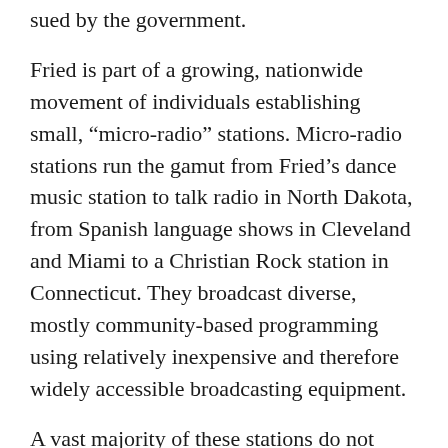sued by the government.
Fried is part of a growing, nationwide movement of individuals establishing small, “micro-radio” stations. Micro-radio stations run the gamut from Fried’s dance music station to talk radio in North Dakota, from Spanish language shows in Cleveland and Miami to a Christian Rock station in Connecticut. They broadcast diverse, mostly community-based programming using relatively inexpensive and therefore widely accessible broadcasting equipment.
A vast majority of these stations do not interfere with existing stations, but the Federal Communications Commission (FCC) still goes after them in court. The FCC points out that it is illegal to broadcast without a license from the agency, but since 1978 the FCC has refused to license micro-broadcasters—individuals who